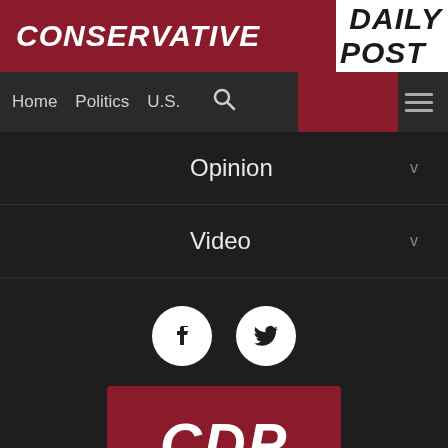CONSERVATIVE DAILY POST
Home  Politics  U.S.
Opinion  v
Video  v
[Figure (logo): Facebook and Twitter social media icons as white circles with black logos]
[Figure (logo): CDP Conservative Daily Post logo — white bold italic letters CDP on dark red background with CONSERVATIVE DAILY POST below]